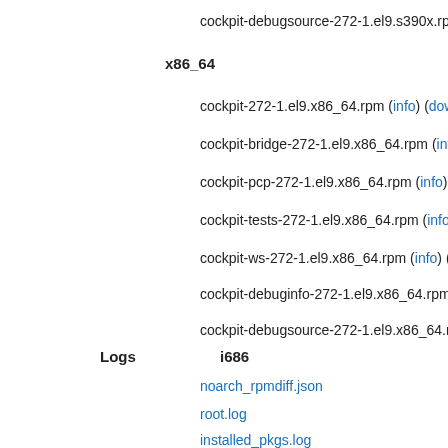cockpit-debugsource-272-1.el9.s390x.rpm
x86_64
cockpit-272-1.el9.x86_64.rpm (info) (down...
cockpit-bridge-272-1.el9.x86_64.rpm (info)
cockpit-pcp-272-1.el9.x86_64.rpm (info) (d...
cockpit-tests-272-1.el9.x86_64.rpm (info) (
cockpit-ws-272-1.el9.x86_64.rpm (info) (do...
cockpit-debuginfo-272-1.el9.x86_64.rpm (i...
cockpit-debugsource-272-1.el9.x86_64.rpm
Logs
i686
noarch_rpmdiff.json
root.log
installed_pkgs.log
build.log
hw_info.log
mock_output.log